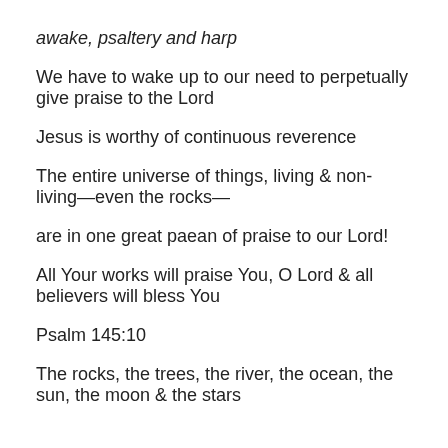awake, psaltery and harp
We have to wake up to our need to perpetually give praise to the Lord
Jesus is worthy of continuous reverence
The entire universe of things, living & non-living—even the rocks—
are in one great paean of praise to our Lord!
All Your works will praise You, O Lord & all believers will bless You
Psalm 145:10
The rocks, the trees, the river, the ocean, the sun, the moon & the stars